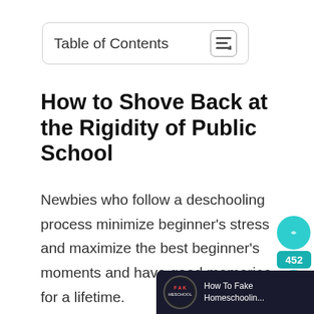Table of Contents
How to Shove Back at the Rigidity of Public School
Newbies who follow a deschooling process minimize beginner’s stress and maximize the best beginner’s moments and have good memories for a lifetime.
[Figure (infographic): Social share widget with teal circles and count 452]
[Figure (logo): How To Fake Homeschoolin... branding bar at bottom right]